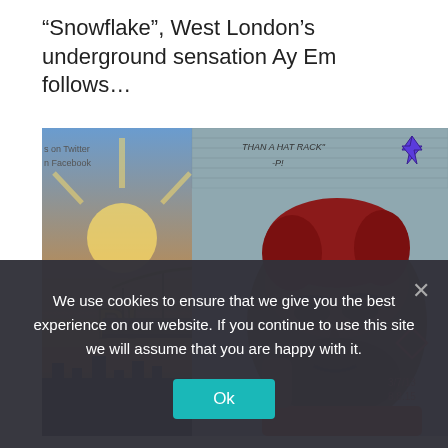“Snowflake”, West London’s underground sensation Ay Em follows...
[Figure (photo): Street art mural on a brick wall depicting a man's face with beard, a bridge, and text graffiti. Elements include a Decepticon logo, dates '3/7/13 8.8.15', text 'than a hat rack', and 'P!' lettering.]
We use cookies to ensure that we give you the best experience on our website. If you continue to use this site we will assume that you are happy with it.